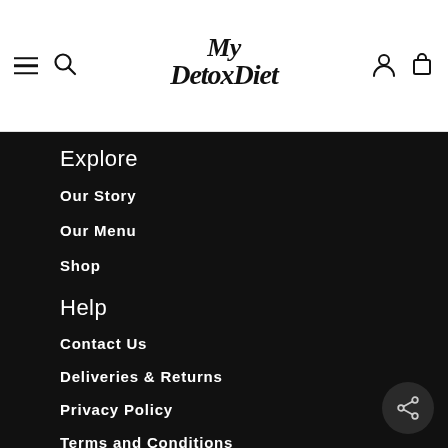My Detox Diet — navigation header with hamburger menu, search, logo, account and cart icons
Explore
Our Story
Our Menu
Shop
Help
Contact Us
Deliveries & Returns
Privacy Policy
Terms and Conditions